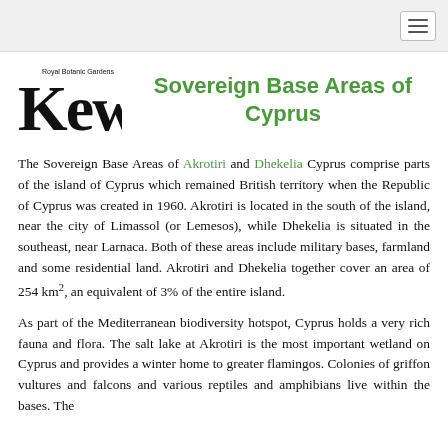Sovereign Base Areas of Cyprus
The Sovereign Base Areas of Akrotiri and Dhekelia Cyprus comprise parts of the island of Cyprus which remained British territory when the Republic of Cyprus was created in 1960. Akrotiri is located in the south of the island, near the city of Limassol (or Lemesos), while Dhekelia is situated in the southeast, near Larnaca. Both of these areas include military bases, farmland and some residential land. Akrotiri and Dhekelia together cover an area of 254 km2, an equivalent of 3% of the entire island.
As part of the Mediterranean biodiversity hotspot, Cyprus holds a very rich fauna and flora. The salt lake at Akrotiri is the most important wetland on Cyprus and provides a winter home to greater flamingos. Colonies of griffon vultures and falcons and various reptiles and amphibians live within the bases. The